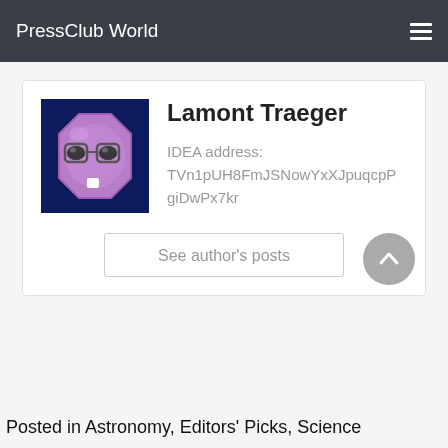PressClub World
[Figure (illustration): Avatar: purple octagon face with glasses and a tooth, on dark blue background]
Lamont Traeger
IDEA address:
TVn1pUH8FmJSNowYxXJpuqcpPgiDwPx7kr
See author's posts
Posted in Astronomy, Editors' Picks, Science